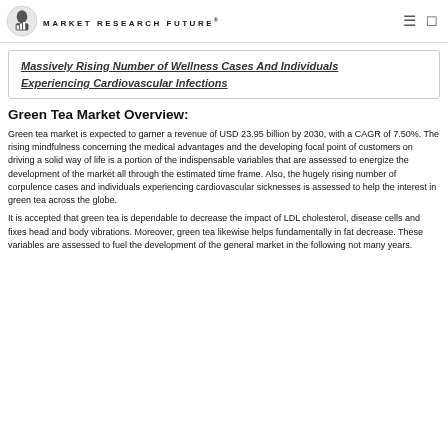MARKET RESEARCH FUTURE®
Massively Rising Number of Wellness Cases And Individuals Experiencing Cardiovascular Infections
Green Tea Market Overview:
Green tea market is expected to garner a revenue of USD 23.95 billion by 2030, with a CAGR of 7.50%. The rising mindfulness concerning the medical advantages and the developing focal point of customers on driving a solid way of life is a portion of the indispensable variables that are assessed to energize the development of the market all through the estimated time frame. Also, the hugely rising number of corpulence cases and individuals experiencing cardiovascular sicknesses is assessed to help the interest in green tea across the globe.
It is accepted that green tea is dependable to decrease the impact of LDL cholesterol, disease cells and fixes head and body vibrations. Moreover, green tea likewise helps fundamentally in fat decrease. These variables are assessed to fuel the development of the general market in the following not many years.